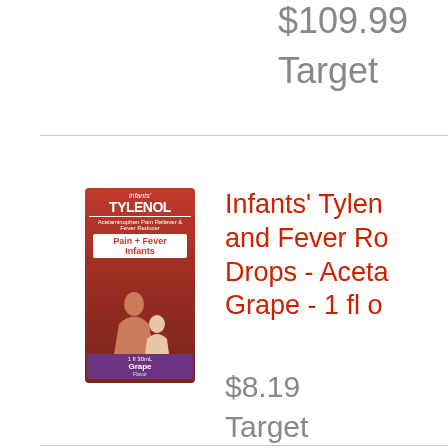$109.99
Target
[Figure (photo): Infants' Tylenol Pain + Fever Reducer Drops - Grape flavor, 1 fl oz box with red packaging and purple bottom panel]
Infants' Tylenol Pain and Fever Reducer Drops - Acetaminophen - Grape - 1 fl oz
$8.19
Target
[Figure (photo): Delta Children Hands-Free Bedside Bassinet, white/gray with canopy]
Delta Children Hands-Free Bedside Bassinet